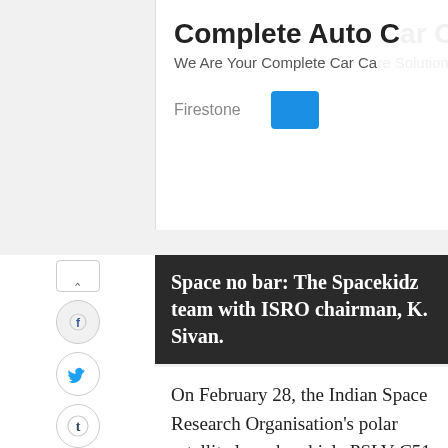[Figure (screenshot): Partial advertisement banner for 'Complete Auto C...' with tagline 'We Are Your Complete Car Ca...' and Firestone branding with a blue button]
Space no bar: The Spacekidz team with ISRO chairman, K. Sivan.
On February 28, the Indian Space Research Organisation's polar satellite launch vehicle PSLV-C51 lifted off from the Sriharikota spaceport carrying 19 satellites, including a 3U CubeSat (a nanosatellite) that weighs just 1.9kg. Named after Satish Dhawan, one of the pioneers of the Indian space programme, this nanosatellite carried a digital version of Bhagvad Gita, a photograph of Prime Minister Narendra Modi and names of